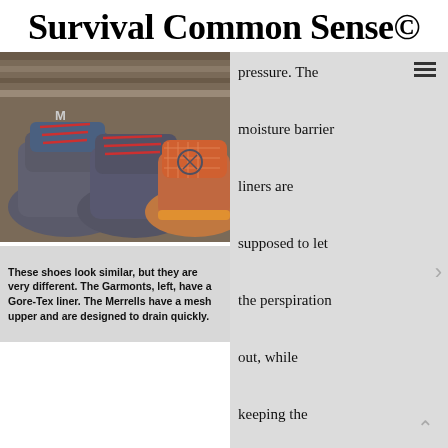Survival Common Sense©
[Figure (photo): Three hiking/trail shoes lined up on a wooden surface — two gray-and-red Garmont shoes with Gore-Tex liners on the left, and a gray-and-orange Merrell shoe with mesh upper on the right.]
These shoes look similar, but they are very different. The Garmonts, left, have a Gore-Tex liner. The Merrells have a mesh upper and are designed to drain quickly.
pressure. The moisture barrier liners are supposed to let the perspiration out, while keeping the moisture from getting into the shoe. It sounds good but doesn't work that way. If the air pressure outside is greater – like when it's raining – you will sweat more than the barrier can let out. If you are exerting yourself at all this will result in wet feet. If you sitting by a campfire and not moving, the moisture barrier may work as